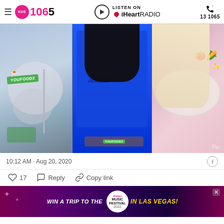KIIS 1065 | LISTEN ON iHeartRADIO | 13 1065
[Figure (photo): Three-panel photo collage: left panel shows Youfoodz branded meal on plate with utensils; center panel shows person in blue Adidas shirt holding a Youfoodz product; right panel shows person holding a plate with colorful food being sprinkled.]
10:12 AM · Aug 20, 2020
♡ 17   Reply   Copy link
[Figure (screenshot): Advertisement banner: WIN A TRIP TO THE iHeart Music Festival 2022 IN LAS VEGAS!]